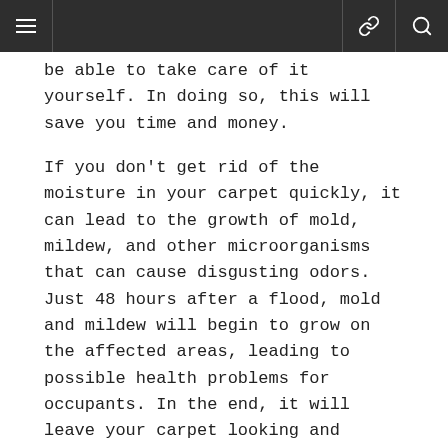≡  ∞  🔍
be able to take care of it yourself. In doing so, this will save you time and money.
If you don't get rid of the moisture in your carpet quickly, it can lead to the growth of mold, mildew, and other microorganisms that can cause disgusting odors. Just 48 hours after a flood, mold and mildew will begin to grow on the affected areas, leading to possible health problems for occupants. In the end, it will leave your carpet looking and smelling horrible. Once your carpet is ruined by the growths and smells, you'll need to replace it, costing you money that could have been saved if taken care of in a timely manner.
Continue Reading